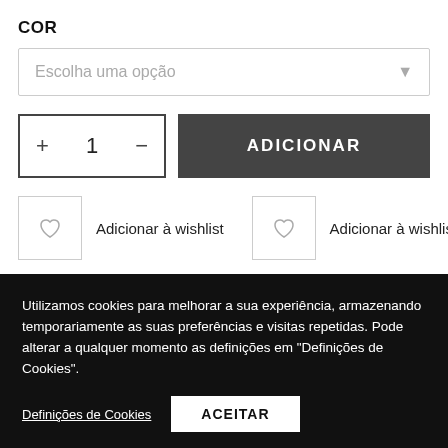COR
Escolha uma opção
+ 1 −
ADICIONAR
Adicionar à wishlist
Adicionar à wishlist
Utilizamos cookies para melhorar a sua experiência, armazenando temporariamente as suas preferências e visitas repetidas. Pode alterar a qualquer momento as definições em "Definições de Cookies".
Definições de Cookies
ACEITAR